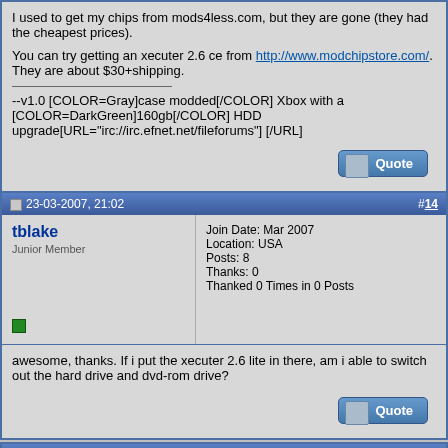I used to get my chips from mods4less.com, but they are gone (they had the cheapest prices).

You can try getting an xecuter 2.6 ce from http://www.modchipstore.com/. They are about $30+shipping.

--v1.0 [COLOR=Gray]case modded[/COLOR] Xbox with a [COLOR=DarkGreen]160gb[/COLOR] HDD upgrade[URL="irc://irc.efnet.net/fileforums"] [/URL]
23-03-2007, 21:02
#14
tblake
Junior Member
Join Date: Mar 2007
Location: USA
Posts: 8
Thanks: 0
Thanked 0 Times in 0 Posts
awesome, thanks. If i put the xecuter 2.6 lite in there, am i able to switch out the hard drive and dvd-rom drive?
26-03-2007, 18:47
#15
Join Date: Jun 2002
Location: In a garbage can, like Oscar
Posts: 3,361
[Figure (illustration): User avatar showing a cartoon character, dark blue background with clouds and a figure]